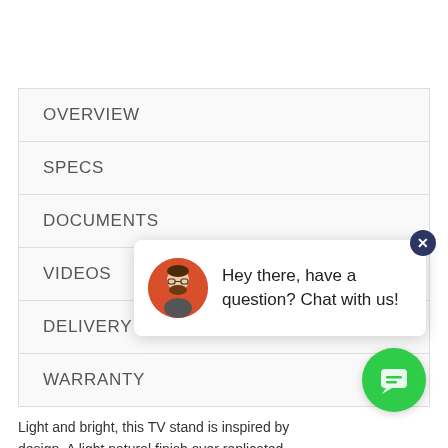OVERVIEW
SPECS
DOCUMENTS
VIDEOS
DELIVERY
WARRANTY
Light and bright, this TV stand is inspired by design. A light natural finish over replicated grain offers an authentic touch to this piece. Open shelving and two smooth gliding drawers provide
[Figure (illustration): Chat widget popup with avatar icon showing a cartoon person with a beard, and text 'Hey there, have a question? Chat with us!' with a close (X) button in the top right corner, and a green circular chat bubble button below.]